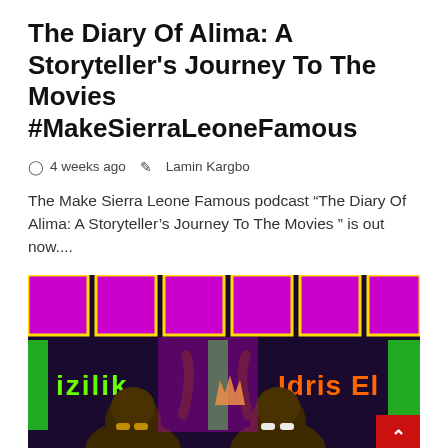The Diary Of Alima: A Storyteller’s Journey To The Movies #MakeSierraLeoneFamous
⏰ 4 weeks ago  ✏ Lamin Kargbo
The Make Sierra Leone Famous podcast “The Diary Of Alima: A Storyteller’s Journey To The Movies ” is out now....
[Figure (illustration): Colorful illustrated artwork showing two animated characters with text reading 'izilik' and 'Idris El' on a vibrant pink and green background. A red scroll-to-top button with a white chevron arrow appears in the bottom right corner.]